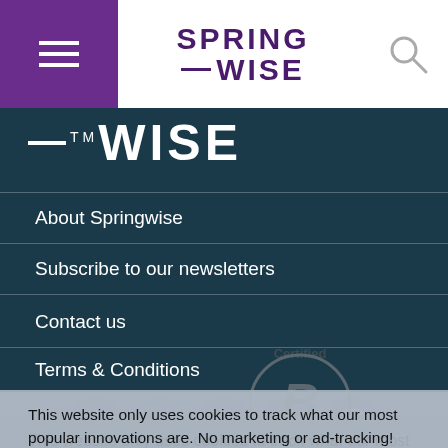[Figure (logo): Springwise logo in purple with hamburger menu and search icon in top navigation bar]
[Figure (logo): Springwise WISE logo watermark in white on dark teal background]
About Springwise
Subscribe to our newsletters
Contact us
Terms & Conditions
Privacy & Cookies
This website only uses cookies to track what our most popular innovations are. No marketing or ad-tracking!  Learn more
[Figure (logo): B Corporation certified logo]
[Figure (logo): Social media icons: Facebook, Twitter, Tumblr, LinkedIn, Instagram]